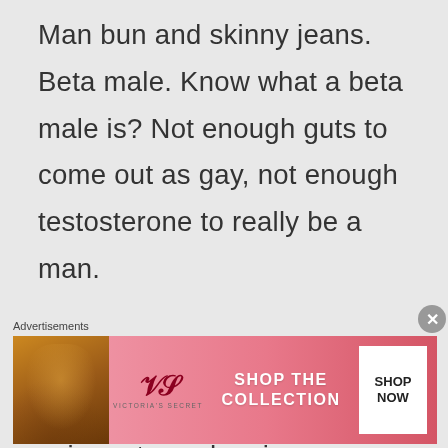Man bun and skinny jeans. Beta male. Know what a beta male is? Not enough guts to come out as gay, not enough testosterone to really be a man.

Although I was sooo tempted to write a little poetic verse using a term rhyming
Advertisements
[Figure (photo): Victoria's Secret advertisement banner with a woman's face, VS logo, 'SHOP THE COLLECTION' text, and a 'SHOP NOW' button]